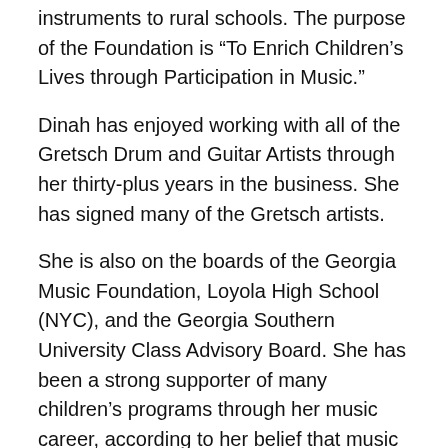instruments to rural schools. The purpose of the Foundation is “To Enrich Children’s Lives through Participation in Music.”
Dinah has enjoyed working with all of the Gretsch Drum and Guitar Artists through her thirty-plus years in the business. She has signed many of the Gretsch artists.
She is also on the boards of the Georgia Music Foundation, Loyola High School (NYC), and the Georgia Southern University Class Advisory Board. She has been a strong supporter of many children’s programs through her music career, according to her belief that music has the power to change children’s lives in a positive way.